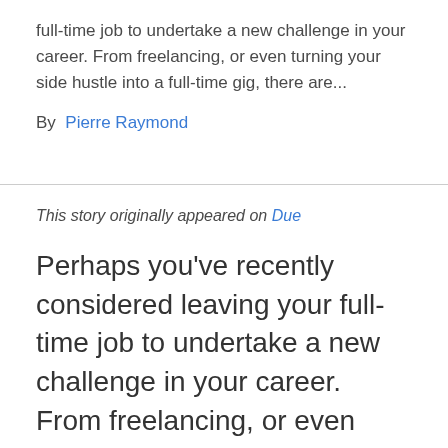full-time job to undertake a new challenge in your career. From freelancing, or even turning your side hustle into a full-time gig, there are...
By  Pierre Raymond
This story originally appeared on Due
Perhaps you’ve recently considered leaving your full-time job to undertake a new challenge in your career. From freelancing, or even turning your side hustle into a full-time